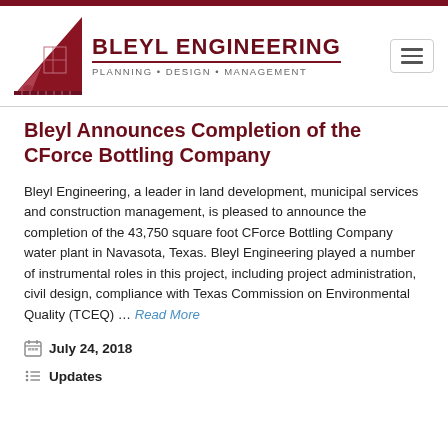Bleyl Engineering — Planning • Design • Management
Bleyl Announces Completion of the CForce Bottling Company
Bleyl Engineering, a leader in land development, municipal services and construction management, is pleased to announce the completion of the 43,750 square foot CForce Bottling Company water plant in Navasota, Texas. Bleyl Engineering played a number of instrumental roles in this project, including project administration, civil design, compliance with Texas Commission on Environmental Quality (TCEQ) ... Read More
July 24, 2018
Updates